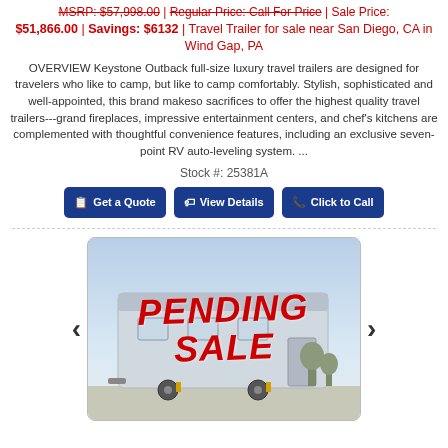MSRP: $57,998.00 | Regular Price: Call For Price | Sale Price: $51,866.00 | Savings: $6132 | Travel Trailer for sale near San Diego, CA in Wind Gap, PA
OVERVIEW Keystone Outback full-size luxury travel trailers are designed for travelers who like to camp, but like to camp comfortably. Stylish, sophisticated and well-appointed, this brand makeso sacrifices to offer the highest quality travel trailers---grand fireplaces, impressive entertainment centers, and chef's kitchens are complemented with thoughtful convenience features, including an exclusive seven-point RV auto-leveling system. ...
Stock #: 25381A
[Figure (screenshot): Photo of a travel trailer with a red PENDING SALE overlay text stamp on it, shown in a rounded image frame with left and right navigation arrows on either side.]